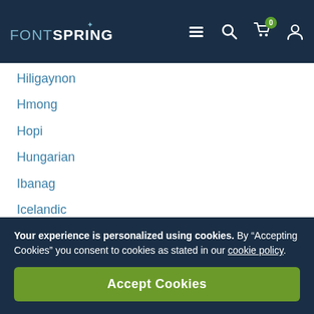FONTSPRING navigation bar with menu, search, cart (0), and user icons
Hiligaynon
Hmong
Hopi
Hungarian
Ibanag
Icelandic
Iloko (Ilokano)
Indonesian
Interglossa (Glosa)
Interlingua
Irish (Gaelic)
Istro-Romanian
Your experience is personalized using cookies. By “Accepting Cookies” you consent to cookies as stated in our cookie policy.
Accept Cookies